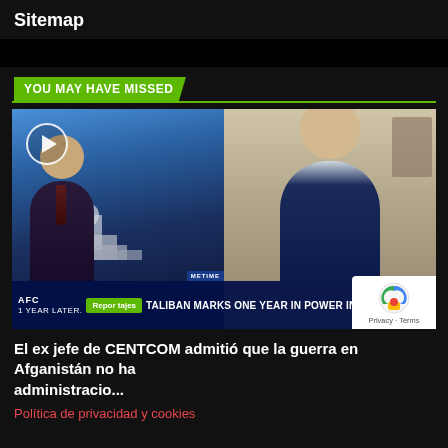Sitemap
[Figure (screenshot): TV news screenshot showing two people in a split screen. Left: male anchor in suit with US Capitol building backdrop. Right: older male guest in blue jacket. Lower third reads: 'Reportajes' tag and 'TALIBAN MARKS ONE YEAR IN POWER IN AFGHANISTAN'. NBC logo visible. Play button overlay top-left.]
Reportajes | TALIBAN MARKS ONE YEAR IN POWER IN AFGHANISTAN
El ex jefe de CENTCOM admitió que la guerra en Afganistán no ha administra...
Política de privacidad y cookies